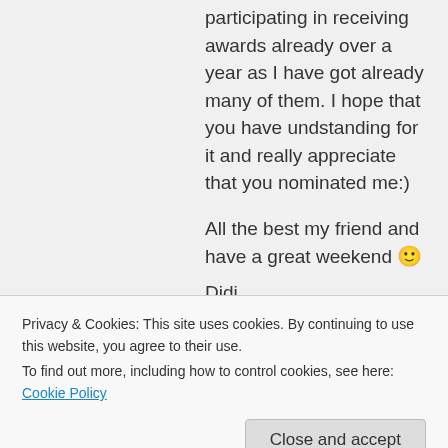participating in receiving awards already over a year as I have got already many of them. I hope that you have undstanding for it and really appreciate that you nominated me:)
All the best my friend and have a great weekend 🙂
Didi
★ Like
Log in to Reply
Privacy & Cookies: This site uses cookies. By continuing to use this website, you agree to their use.
To find out more, including how to control cookies, see here: Cookie Policy
Close and accept
you have a beautiful site, Didi. thank you for the